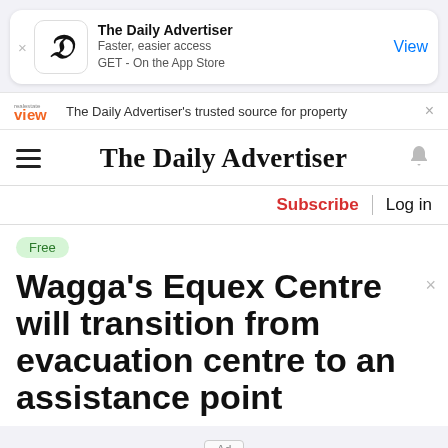[Figure (screenshot): App Store banner for The Daily Advertiser app with icon, text 'Faster, easier access GET - On the App Store', and a 'View' button]
The Daily Advertiser's trusted source for property
The Daily Advertiser
Subscribe  Log in
Free
Wagga's Equex Centre will transition from evacuation centre to an assistance point
Ad